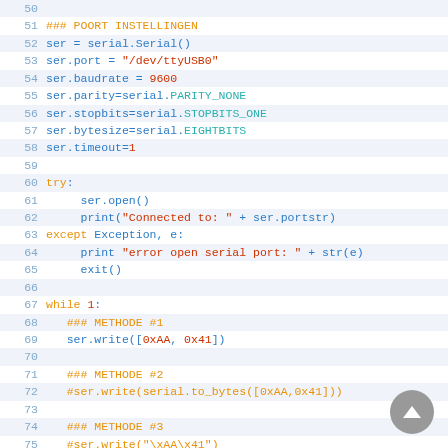[Figure (screenshot): Python code editor screenshot showing serial port configuration code (lines 50-79) with syntax highlighting. Orange for comments/keywords like ### POORT INSTELLINGEN, blue for variable names and methods, red for string values, cyan for constants. Code includes serial port setup, try/except block, while loop, and multiple methods for writing bytes to serial port.]